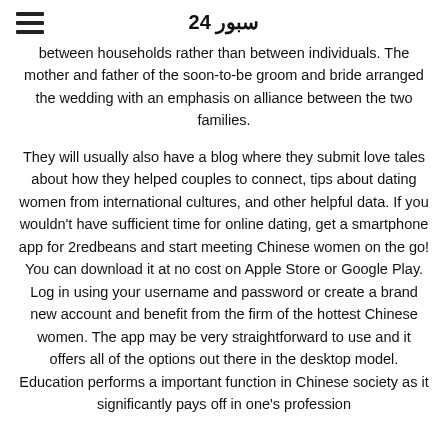سبور 24
between households rather than between individuals. The mother and father of the soon-to-be groom and bride arranged the wedding with an emphasis on alliance between the two families.
They will usually also have a blog where they submit love tales about how they helped couples to connect, tips about dating women from international cultures, and other helpful data. If you wouldn't have sufficient time for online dating, get a smartphone app for 2redbeans and start meeting Chinese women on the go! You can download it at no cost on Apple Store or Google Play. Log in using your username and password or create a brand new account and benefit from the firm of the hottest Chinese women. The app may be very straightforward to use and it offers all of the options out there in the desktop model. Education performs a important function in Chinese society as it significantly pays off in one's profession